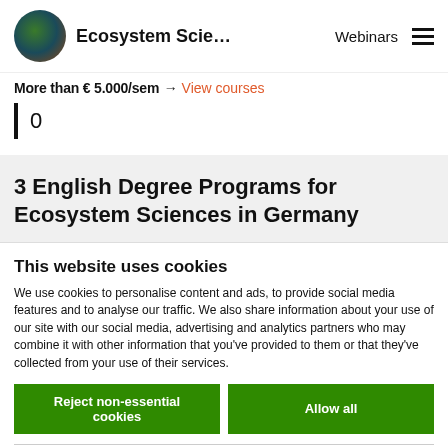Ecosystem Scie... | Webinars
More than € 5.000/sem → View courses
0
3 English Degree Programs for Ecosystem Sciences in Germany
This website uses cookies
We use cookies to personalise content and ads, to provide social media features and to analyse our traffic. We also share information about your use of our site with our social media, advertising and analytics partners who may combine it with other information that you've provided to them or that they've collected from your use of their services.
Reject non-essential cookies | Allow all
Necessary | Preferences | Statistics | Marketing | Show details